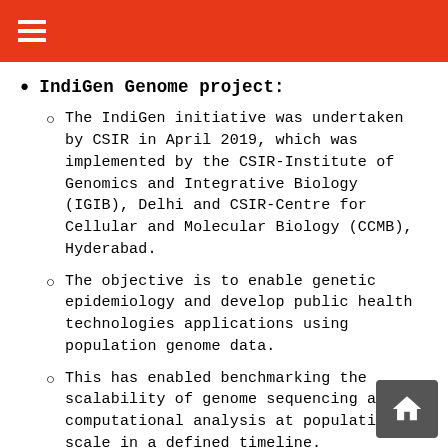≡
IndiGen Genome project:
The IndiGen initiative was undertaken by CSIR in April 2019, which was implemented by the CSIR-Institute of Genomics and Integrative Biology (IGIB), Delhi and CSIR-Centre for Cellular and Molecular Biology (CCMB), Hyderabad.
The objective is to enable genetic epidemiology and develop public health technologies applications using population genome data.
This has enabled benchmarking the scalability of genome sequencing and computational analysis at population scale in a defined timeline.